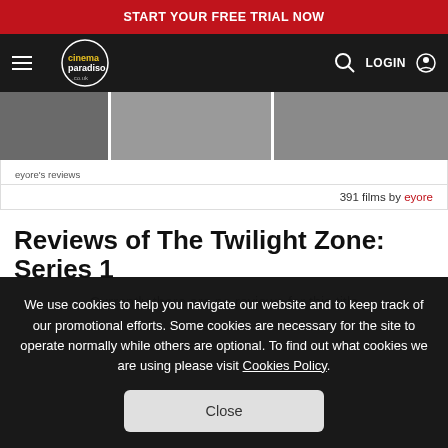START YOUR FREE TRIAL NOW
[Figure (screenshot): Cinema Paradiso website navigation bar with logo, hamburger menu, search icon and LOGIN button on dark background]
eyore's reviews
391 films by eyore
Reviews of The Twilight Zone: Series 1
Currently there are no reviews for this title
We use cookies to help you navigate our website and to keep track of our promotional efforts. Some cookies are necessary for the site to operate normally while others are optional. To find out what cookies we are using please visit Cookies Policy.